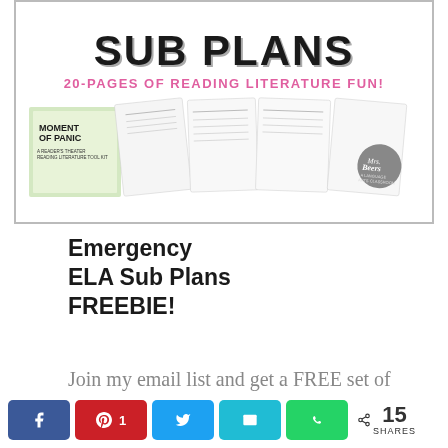[Figure (illustration): Promotional banner for Emergency ELA Sub Plans resource. Large bold text reads 'SUB PLANS' with subtitle '20-PAGES OF READING LITERATURE FUN!' Below are fanned-out worksheet pages including a booklet titled 'MOMENT OF PANIC: A READER'S THEATER READING LITERATURE TOOL KIT' and a Mrs. Beers branding circle.]
Emergency ELA Sub Plans FREEBIE!
Join my email list and get a FREE set of my